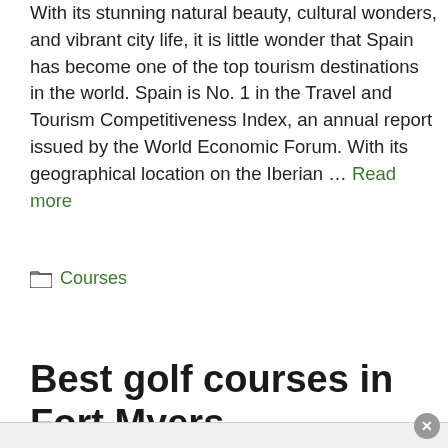With its stunning natural beauty, cultural wonders, and vibrant city life, it is little wonder that Spain has become one of the top tourism destinations in the world. Spain is No. 1 in the Travel and Tourism Competitiveness Index, an annual report issued by the World Economic Forum. With its geographical location on the Iberian … Read more
Courses
Best golf courses in Fort Myers